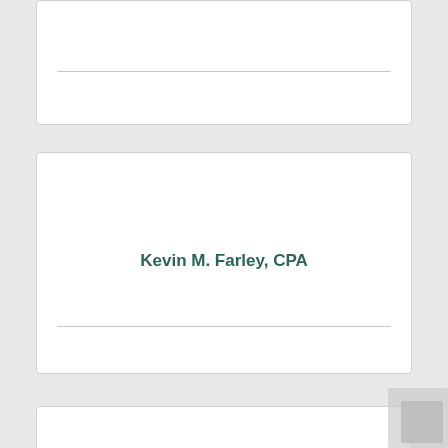[Figure (other): Top card/box with a horizontal divider line, no visible text content]
Kevin M. Farley, CPA
[Figure (other): Bottom partial card/box, partially visible at bottom of page]